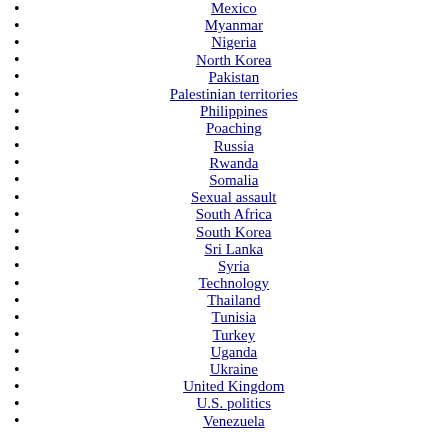Mexico
Myanmar
Nigeria
North Korea
Pakistan
Palestinian territories
Philippines
Poaching
Russia
Rwanda
Somalia
Sexual assault
South Africa
South Korea
Sri Lanka
Syria
Technology
Thailand
Tunisia
Turkey
Uganda
Ukraine
United Kingdom
U.S. politics
Venezuela